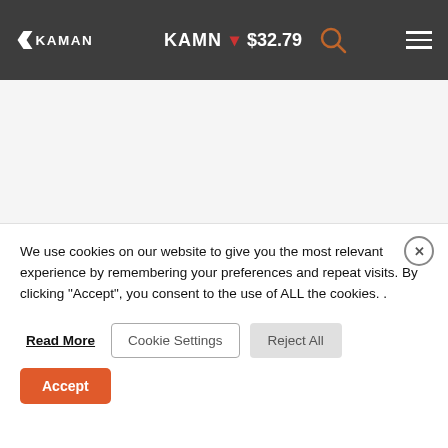KAMAN · $32.79
We use cookies on our website to give you the most relevant experience by remembering your preferences and repeat visits. By clicking "Accept", you consent to the use of ALL the cookies. .
Read More  Cookie Settings  Reject All  Accept